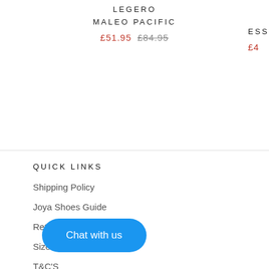LEGERO
MALEO PACIFIC
£51.95  £84.95
ESS
£4
QUICK LINKS
Shipping Policy
Joya Shoes Guide
Return Policy
Size Guide
T&C'S
T
Chat with us